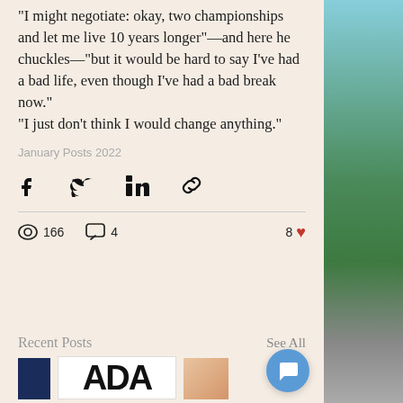“I might negotiate: okay, two championships and let me live 10 years longer”—and here he chuckles—“but it would be hard to say I’ve had a bad life, even though I’ve had a bad break now.” “I just don’t think I would change anything.”
January Posts 2022
[Figure (screenshot): Social share icons: Facebook, Twitter, LinkedIn, link]
[Figure (screenshot): Stats bar: 166 views, 4 comments, 8 likes]
Recent Posts
See All
[Figure (screenshot): Recent post thumbnails: dark blue block, ADA text card, photo]
[Figure (photo): Outdoor road photo with trees and blue sky on right side]